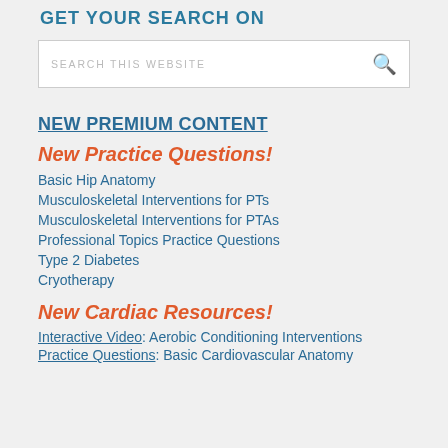GET YOUR SEARCH ON
[Figure (screenshot): Search box with placeholder text 'SEARCH THIS WEBSITE' and a search icon on the right]
NEW PREMIUM CONTENT
New Practice Questions!
Basic Hip Anatomy
Musculoskeletal Interventions for PTs
Musculoskeletal Interventions for PTAs
Professional Topics Practice Questions
Type 2 Diabetes
Cryotherapy
New Cardiac Resources!
Interactive Video: Aerobic Conditioning Interventions
Practice Questions: Basic Cardiovascular Anatomy